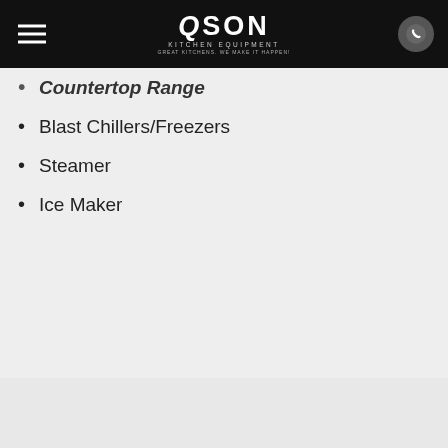QSON KITCHEN EQUIPMENT — GREAT KITCHENS, WE MAKE IT HAPPEN!
Countertop Range (partial)
Blast Chillers/Freezers
Steamer
Ice Maker